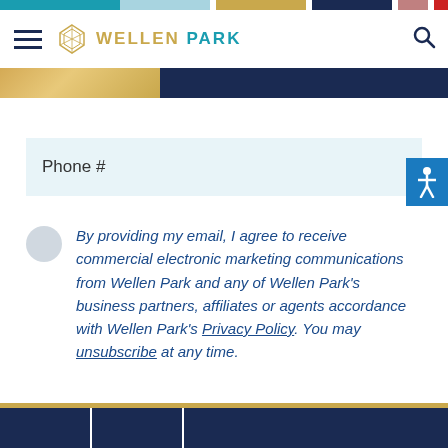[Figure (logo): Wellen Park logo with hamburger menu, diamond icon, and search icon in header]
Phone #
By providing my email, I agree to receive commercial electronic marketing communications from Wellen Park and any of Wellen Park’s business partners, affiliates or agents accordance with Wellen Park’s Privacy Policy. You may unsubscribe at any time.
SUBMIT
*Required